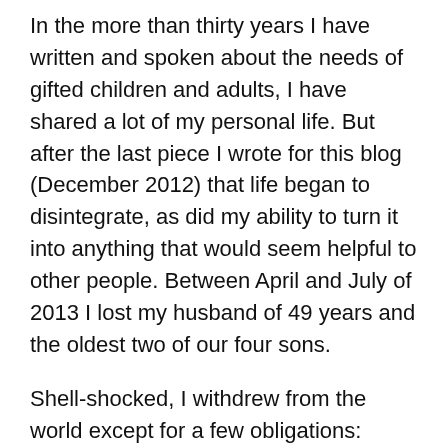In the more than thirty years I have written and spoken about the needs of gifted children and adults, I have shared a lot of my personal life. But after the last piece I wrote for this blog (December 2012) that life began to disintegrate, as did my ability to turn it into anything that would seem helpful to other people. Between April and July of 2013 I lost my husband of 49 years and the oldest two of our four sons.
Shell-shocked, I withdrew from the world except for a few obligations: Yunasa, the Institute for Educational Advancement's camp for highly gifted kids and speaking as a member of the Columbus Group about Asynchronous Development at the World Council's Conference in Louisville.
At that conference the argument between those (like the